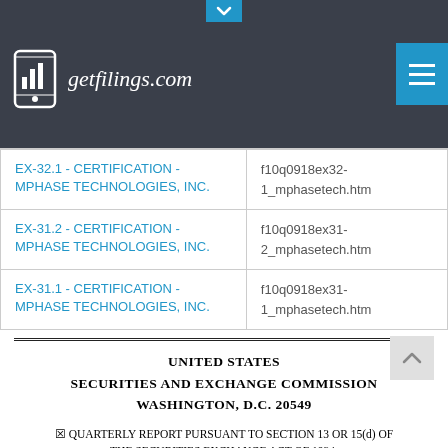getfilings.com
| Filing | File |
| --- | --- |
| EX-32.1 - CERTIFICATION - MPHASE TECHNOLOGIES, INC. | f10q0918ex32-1_mphasetech.htm |
| EX-31.2 - CERTIFICATION - MPHASE TECHNOLOGIES, INC. | f10q0918ex31-2_mphasetech.htm |
| EX-31.1 - CERTIFICATION - MPHASE TECHNOLOGIES, INC. | f10q0918ex31-1_mphasetech.htm |
UNITED STATES
SECURITIES AND EXCHANGE COMMISSION
WASHINGTON, D.C. 20549
☒ QUARTERLY REPORT PURSUANT TO SECTION 13 OR 15(d) OF THE SECURITIES EXCHANGE ACT OF 1934.
FOR THE QUARTER ENDED SEPTEMBER 30, 2018